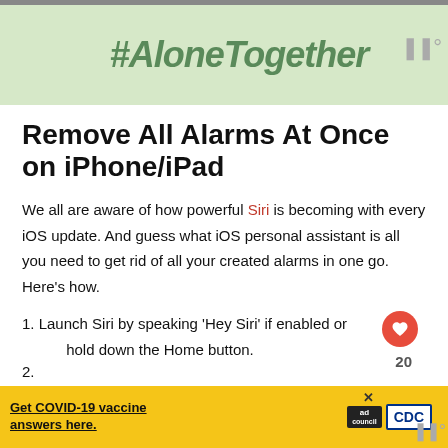[Figure (photo): Green banner advertisement with #AloneTogether hashtag text in bold italic style]
Remove All Alarms At Once on iPhone/iPad
We all are aware of how powerful Siri is becoming with every iOS update. And guess what iOS personal assistant is all you need to get rid of all your created alarms in one go. Here's how.
1. Launch Siri by speaking 'Hey Siri' if enabled or hold down the Home button.
[Figure (photo): Yellow COVID-19 vaccine advertisement banner at bottom with Ad Council and CDC logos]